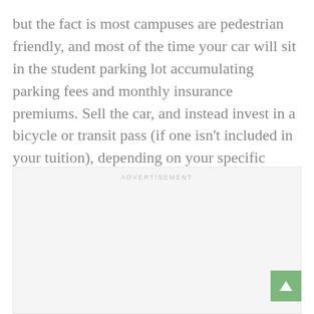but the fact is most campuses are pedestrian friendly, and most of the time your car will sit in the student parking lot accumulating parking fees and monthly insurance premiums. Sell the car, and instead invest in a bicycle or transit pass (if one isn't included in your tuition), depending on your specific needs.
ADVERTISEMENT